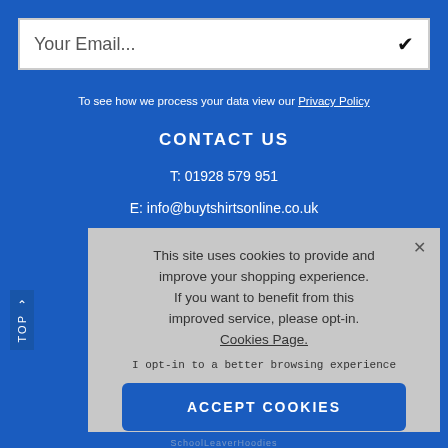Your Email...
To see how we process your data view our Privacy Policy
CONTACT US
T: 01928 579 951
E: info@buytshirtsonline.co.uk
^ TOP
This site uses cookies to provide and improve your shopping experience. If you want to benefit from this improved service, please opt-in. Cookies Page.
I opt-in to a better browsing experience
ACCEPT COOKIES
SchoolLeaverHoodies